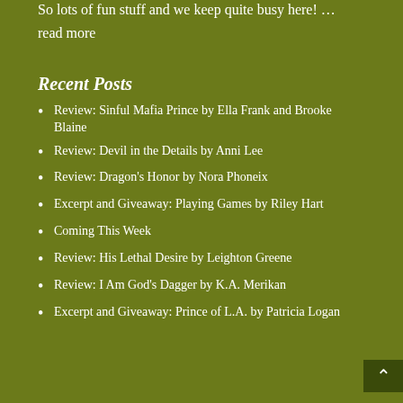So lots of fun stuff and we keep quite busy here! … read more
Recent Posts
Review: Sinful Mafia Prince by Ella Frank and Brooke Blaine
Review: Devil in the Details by Anni Lee
Review: Dragon's Honor by Nora Phoneix
Excerpt and Giveaway: Playing Games by Riley Hart
Coming This Week
Review: His Lethal Desire by Leighton Greene
Review: I Am God's Dagger by K.A. Merikan
Excerpt and Giveaway: Prince of L.A. by Patricia Logan